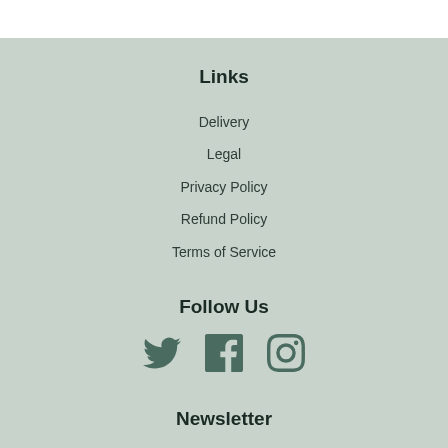Links
Delivery
Legal
Privacy Policy
Refund Policy
Terms of Service
Follow Us
[Figure (illustration): Social media icons: Twitter bird, Facebook F, Instagram camera]
Newsletter